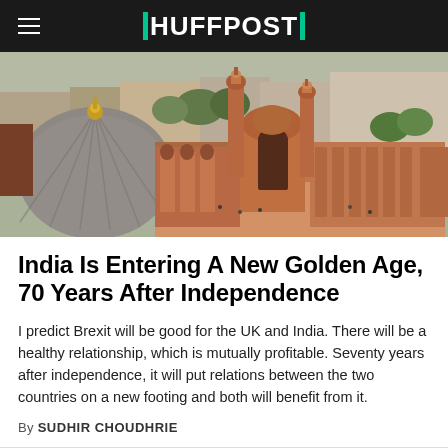HUFFPOST
[Figure (photo): Aerial view of an Indian city with a large mosque (likely Jama Masjid, Delhi), showing its dome and minarets, red sandstone architecture, and surrounding urban buildings.]
India Is Entering A New Golden Age, 70 Years After Independence
I predict Brexit will be good for the UK and India. There will be a healthy relationship, which is mutually profitable. Seventy years after independence, it will put relations between the two countries on a new footing and both will benefit from it.
By SUDHIR CHOUDHRIE